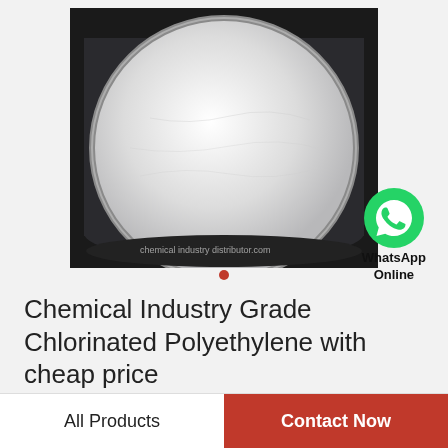[Figure (photo): A glass bowl or petri dish containing white powder (chlorinated polyethylene), viewed from above. Dark background.]
[Figure (logo): WhatsApp green circle logo with phone icon, labeled 'WhatsApp Online']
Chemical Industry Grade Chlorinated Polyethylene with cheap price
All Products
Contact Now